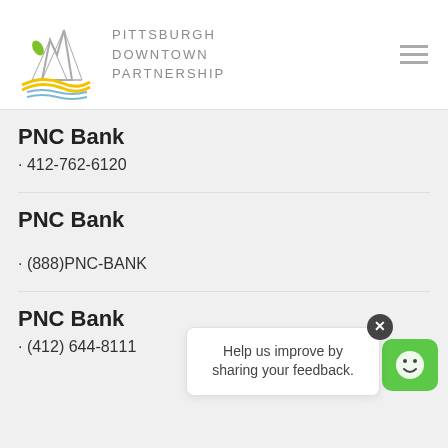[Figure (logo): Pittsburgh Downtown Partnership logo with bridge/mountain illustration and text]
PNC Bank
· 412-762-6120
PNC Bank
· (888)PNC-BANK
PNC Bank
· (412) 644-8111
[Figure (screenshot): Feedback popup: 'Help us improve by sharing your feedback.' with X close button and green smiley chatbot icon]